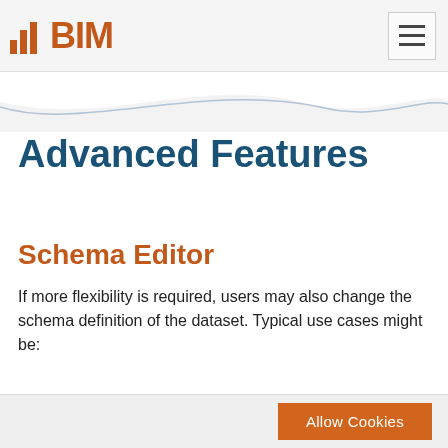BIM
Advanced Features
Schema Editor
If more flexibility is required, users may also change the schema definition of the dataset. Typical use cases might be:
Allow Cookies